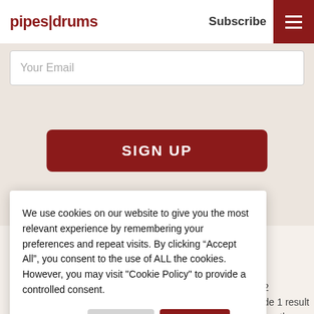pipes | drums   Subscribe
Your Email
SIGN UP
We use cookies on our website to give you the most relevant experience by remembering your preferences and repeat visits. By clicking “Accept All”, you consent to the use of ALL the cookies. However, you may visit "Cookie Policy" to provide a controlled consent.
Cookie Policy   Reject All   Accept All